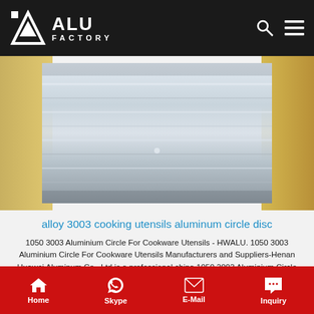ALU FACTORY
[Figure (photo): Close-up photo of aluminum circle disc sheets showing metallic shiny surface with reflections, stored in a box]
alloy 3003 cooking utensils aluminum circle disc
1050 3003 Aluminium Circle For Cookware Utensils - HWALU. 1050 3003 Aluminium Circle For Cookware Utensils Manufacturers and Suppliers-Henan Huawei Aluminum Co., Ltd is a professional china 1050 3003 Aluminium Circle For Cookware Utensils factory.Our Aluminium Circle For Cookware Utensils Thickness 0.3mm-10mm,TemperO, H12, H14,H16H18.Alloy:1050 1060 1070 1100 3003
Get Price
Home   Skype   E-Mail   Inquiry